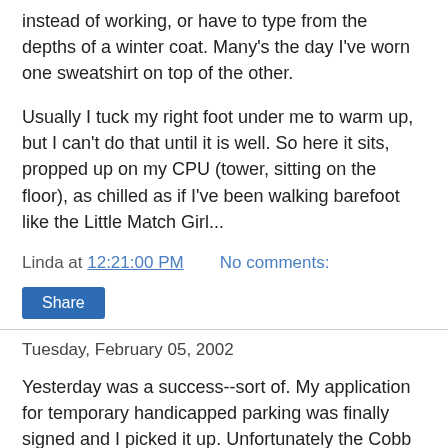instead of working, or have to type from the depths of a winter coat. Many's the day I've worn one sweatshirt on top of the other.
Usually I tuck my right foot under me to warm up, but I can't do that until it is well. So here it sits, propped up on my CPU (tower, sitting on the floor), as chilled as if I've been walking barefoot like the Little Match Girl...
Linda at 12:21:00 PM   No comments:
Share
Tuesday, February 05, 2002
Yesterday was a success--sort of. My application for temporary handicapped parking was finally signed and I picked it up. Unfortunately the Cobb Co. License Office is closed on Mondays, so I couldn't pick up the tag until this morning. Of course when I arrived at work there were no handicapped slots available. So I limped in many more feet than I should have and probably compounded my problem